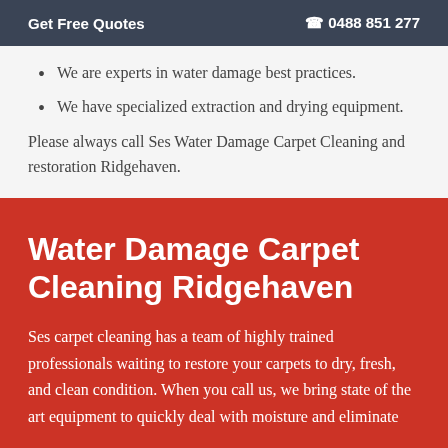Get Free Quotes   📞 0488 851 277
We are experts in water damage best practices.
We have specialized extraction and drying equipment.
Please always call Ses Water Damage Carpet Cleaning and restoration Ridgehaven.
Water Damage Carpet Cleaning Ridgehaven
Ses carpet cleaning has a team of highly trained professionals waiting to restore your carpets to dry, fresh, and clean condition. When you call us, we bring state of the art equipment to quickly deal with moisture and eliminate